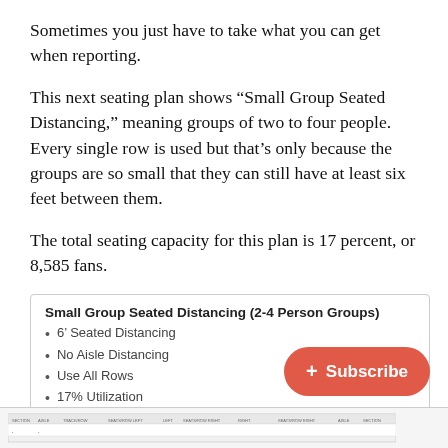Sometimes you just have to take what you can get when reporting.
This next seating plan shows “Small Group Seated Distancing,” meaning groups of two to four people. Every single row is used but that’s only because the groups are so small that they can still have at least six feet between them.
The total seating capacity for this plan is 17 percent, or 8,585 fans.
Small Group Seated Distancing (2-4 Person Groups)
6’ Seated Distancing
No Aisle Distancing
Use All Rows
17% Utilization
[Figure (schematic): Bottom strip showing a seating plan diagram with row labels and sections]